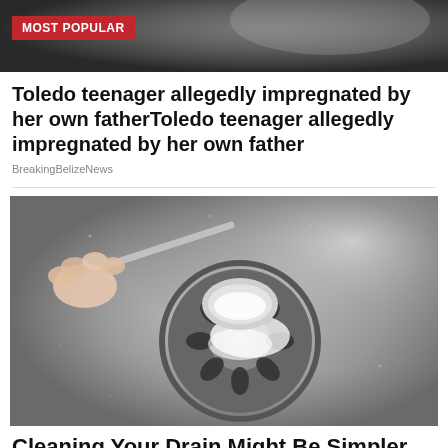[Figure (photo): Dark background photo at top of page, partially visible, with a red 'MOST POPULAR' badge overlaid]
Toledo teenager allegedly impregnated by her own fatherToledo teenager allegedly impregnated by her own father
BreakingBelizeNews
[Figure (photo): Close-up photo of a hand holding a spoon pouring white powder (baking soda) into a stainless steel kitchen sink drain]
Cleaning Your Drain Might Be Simpler Than Ever.